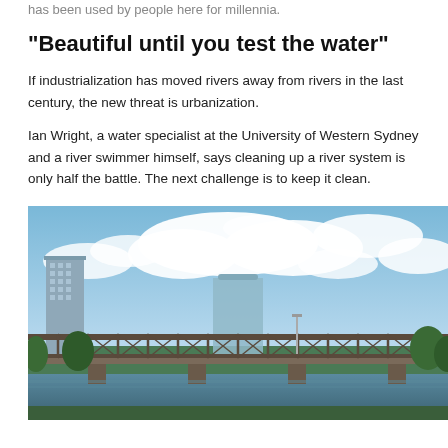has been used by people here for millennia.
“Beautiful until you test the water”
If industrialization has moved rivers away from rivers in the last century, the new threat is urbanization.
Ian Wright, a water specialist at the University of Western Sydney and a river swimmer himself, says cleaning up a river system is only half the battle. The next challenge is to keep it clean.
[Figure (photo): Photo of an urban river scene with a steel truss railway bridge in the foreground, city buildings including a tall apartment block and a curved glass office building in the background, trees along the riverbank, and a partly cloudy blue sky.]